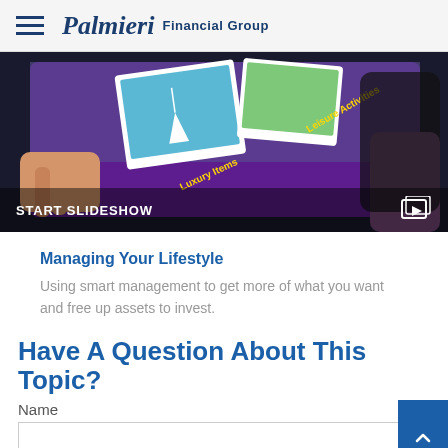Palmieri Financial Group
[Figure (photo): A tablet displaying photo cards with leisure activities including a sailboat image, held by hands with purple/colorful background showing 'Luxury Items' and 'Leisure Activities' text on screen]
START SLIDESHOW
Managing Your Lifestyle
Using smart management to get more of what you want and free up assets to invest.
Have A Question About This Topic?
Name